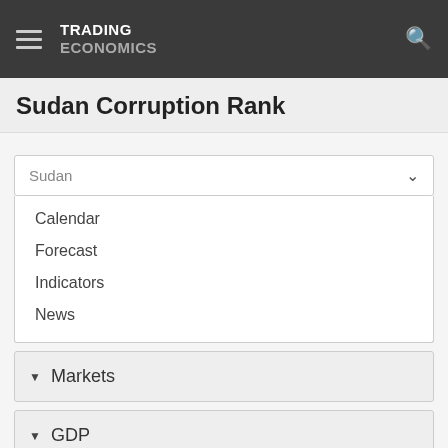TRADING ECONOMICS
Sudan Corruption Rank
Sudan
Calendar
Forecast
Indicators
News
Markets
GDP
Labour